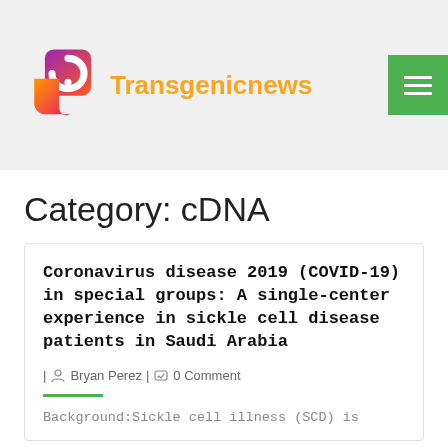[Figure (logo): Transgenicnews website logo with colorful swirl icon and orange site name text]
Category: cDNA
Coronavirus disease 2019 (COVID-19) in special groups: A single-center experience in sickle cell disease patients in Saudi Arabia
| Bryan Perez | 0 Comment
Background:Sickle cell illness (SCD) is